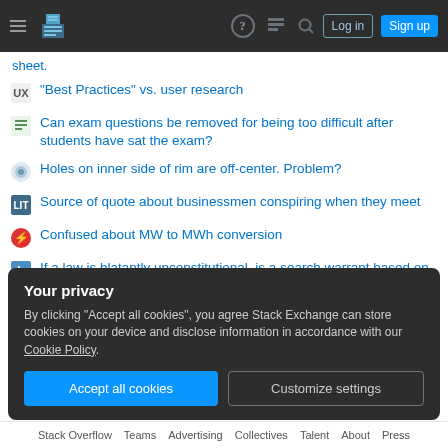Stack Exchange navigation bar with hamburger menu, logo, help, comments, search icons, Log in and Sign up buttons
sheet.
"Best Practices" vs. user research
Can exam questions be removed for being too difficult after students have sat the exam?
Holes on inner side of rim are off-center. Problem?
Source of quote about businessmen conspiring when they meet
Confused about MW to MWh conversion
If a law is blatantly unconstitutional, is a search warrant based on that law valid?
Why Won't My Light Instances Stick To Their Parent Vertices?
Your privacy
By clicking "Accept all cookies", you agree Stack Exchange can store cookies on your device and disclose information in accordance with our Cookie Policy.
Accept all cookies   Customize settings
Stack Overflow   Teams   Advertising   Collectives   Talent   About   Press